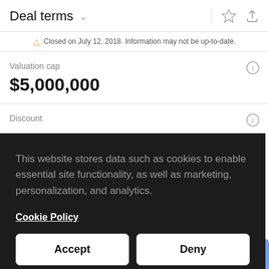Deal terms
Closed on July 12, 2018. Information may not be up-to-date.
Valuation cap
$5,000,000
Discount
This website stores data such as cookies to enable essential site functionality, as well as marketing, personalization, and analytics.
Cookie Policy
Accept
Deny